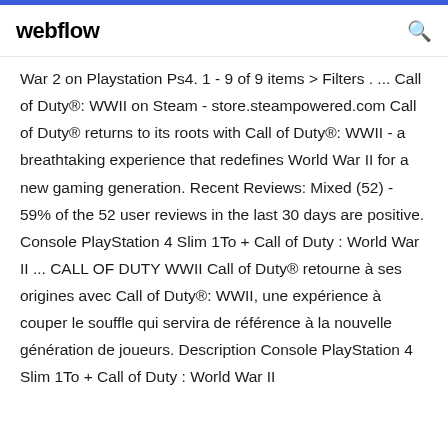webflow
War 2 on Playstation Ps4. 1 - 9 of 9 items > Filters . ... Call of Duty®: WWII on Steam - store.steampowered.com Call of Duty® returns to its roots with Call of Duty®: WWII - a breathtaking experience that redefines World War II for a new gaming generation. Recent Reviews: Mixed (52) - 59% of the 52 user reviews in the last 30 days are positive. Console PlayStation 4 Slim 1To + Call of Duty : World War II ... CALL OF DUTY WWII Call of Duty® retourne à ses origines avec Call of Duty®: WWII, une expérience à couper le souffle qui servira de référence à la nouvelle génération de joueurs. Description Console PlayStation 4 Slim 1To + Call of Duty : World War II